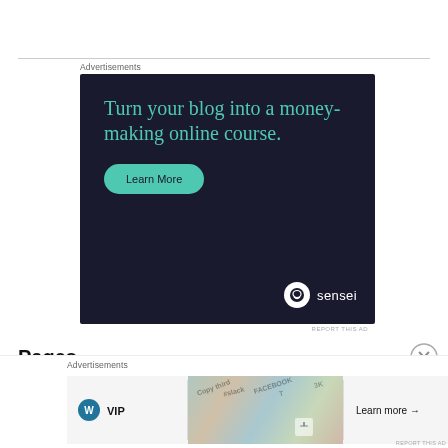Advertisements
[Figure (other): Sensei advertisement banner with dark navy background. Headline: 'Turn your blog into a money-making online course.' with a teal 'Learn More' button and Sensei logo bottom right.]
REPORT THIS AD
Pages
Advertisements
[Figure (other): WordPress VIP advertisement banner with logo on left, decorative card images in center, and 'Learn more →' button on right.]